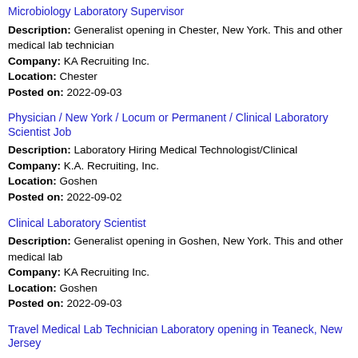Microbiology Laboratory Supervisor
Description: Generalist opening in Chester, New York. This and other medical lab technician
Company: KA Recruiting Inc.
Location: Chester
Posted on: 2022-09-03
Physician / New York / Locum or Permanent / Clinical Laboratory Scientist Job
Description: Laboratory Hiring Medical Technologist/Clinical
Company: K.A. Recruiting, Inc.
Location: Goshen
Posted on: 2022-09-02
Clinical Laboratory Scientist
Description: Generalist opening in Goshen, New York. This and other medical lab
Company: KA Recruiting Inc.
Location: Goshen
Posted on: 2022-09-03
Travel Medical Lab Technician Laboratory opening in Teaneck, New Jersey
Description: Aya Healthcare has an immediate opening for the following position: Travel Medical Lab Technician Laboratory in Teaneck, New Jersey. This is a 13 week contract position that requires at least one year (more...)